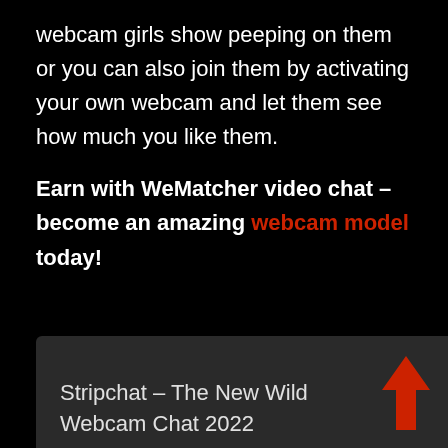webcam girls show peeping on them or you can also join them by activating your own webcam and let them see how much you like them.
Earn with WeMatcher video chat – become an amazing webcam model today!
[Figure (screenshot): Dark card widget showing 'Stripchat – The New Wild Webcam Chat 2022' with a red upward arrow button]